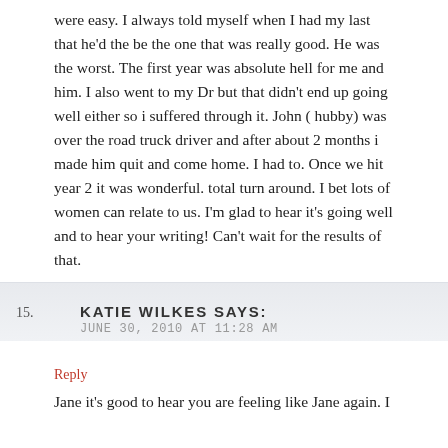were easy. I always told myself when I had my last that he'd the be the one that was really good. He was the worst. The first year was absolute hell for me and him. I also went to my Dr but that didn't end up going well either so i suffered through it. John ( hubby) was over the road truck driver and after about 2 months i made him quit and come home. I had to. Once we hit year 2 it was wonderful. total turn around. I bet lots of women can relate to us. I'm glad to hear it's going well and to hear your writing! Can't wait for the results of that.
Cute pic of Mac too BTW!
Lisa
Reply
15. KATIE WILKES SAYS:
JUNE 30, 2010 AT 11:28 AM
Jane it's good to hear you are feeling like Jane again. I